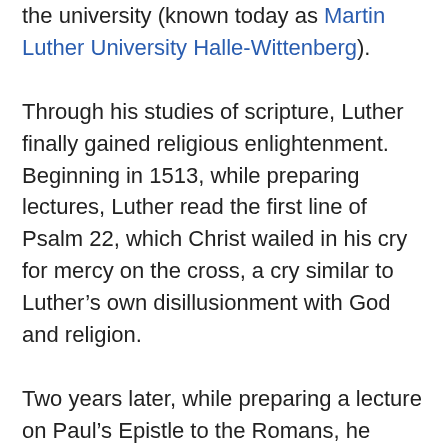the university (known today as Martin Luther University Halle-Wittenberg).
Through his studies of scripture, Luther finally gained religious enlightenment. Beginning in 1513, while preparing lectures, Luther read the first line of Psalm 22, which Christ wailed in his cry for mercy on the cross, a cry similar to Luther's own disillusionment with God and religion.
Two years later, while preparing a lecture on Paul's Epistle to the Romans, he read, “The just will live by faith.” He dwelled on this statement for some time.